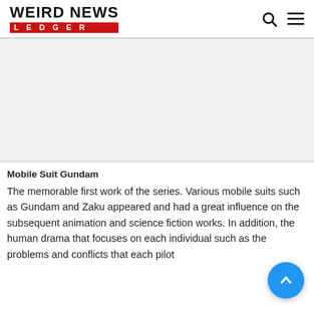WEIRD NEWS LEDGER
[Figure (other): Large placeholder image area (advertisement or article image)]
Mobile Suit Gundam
The memorable first work of the series. Various mobile suits such as Gundam and Zaku appeared and had a great influence on the subsequent animation and science fiction works. In addition, the human drama that focuses on each individual such as the problems and conflicts that each pilot